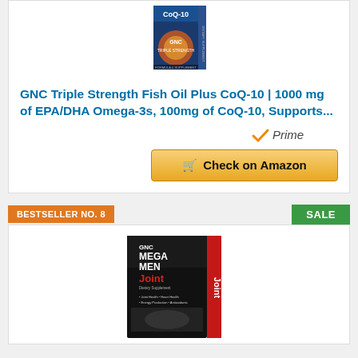[Figure (photo): GNC Triple Strength Fish Oil Plus CoQ-10 product box image]
GNC Triple Strength Fish Oil Plus CoQ-10 | 1000 mg of EPA/DHA Omega-3s, 100mg of CoQ-10, Supports...
[Figure (logo): Amazon Prime badge with checkmark]
Check on Amazon
BESTSELLER NO. 8
SALE
[Figure (photo): GNC Mega Men Joint dietary supplement product box image]